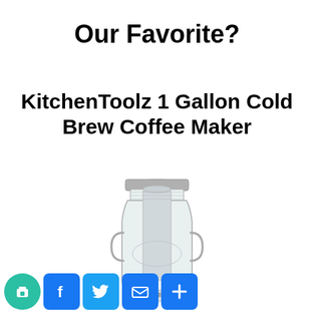Our Favorite?
KitchenToolz 1 Gallon Cold Brew Coffee Maker
[Figure (photo): KitchenToolz 1 Gallon Cold Brew Coffee Maker — a large glass mason jar with a screw-on metal lid, an internal cylindrical filter, and a metal spigot at the bottom, shown on a white background.]